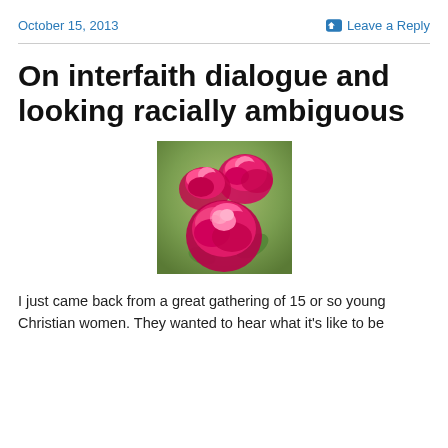October 15, 2013    Leave a Reply
On interfaith dialogue and looking racially ambiguous
[Figure (photo): Photograph of bright pink roses with green blurred background]
I just came back from a great gathering of 15 or so young Christian women. They wanted to hear what it's like to be